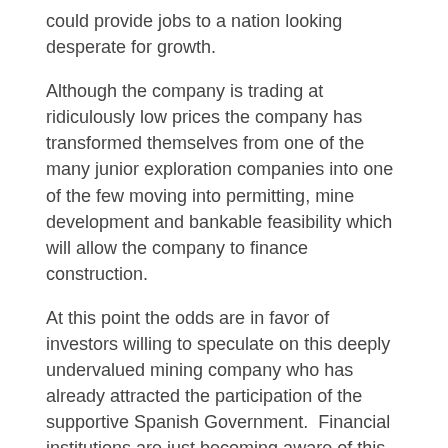could provide jobs to a nation looking desperate for growth.
Although the company is trading at ridiculously low prices the company has transformed themselves from one of the many junior exploration companies into one of the few moving into permitting, mine development and bankable feasibility which will allow the company to finance construction.
At this point the odds are in favor of investors willing to speculate on this deeply undervalued mining company who has already attracted the participation of the supportive Spanish Government.  Financial institutions are just becoming aware of this deeply discounted project.
Recently, the company was able to sell a royalty on the project for over $5,000,000 and is now fully funded to produce a bankable feasibility study.  This is definitely a stamp of approval as the royalty purchaser goes through an extensive due diligence process to ascertain if Edgewater will go into producing gold.
In this volatile market to raise capital without diluting shareholders